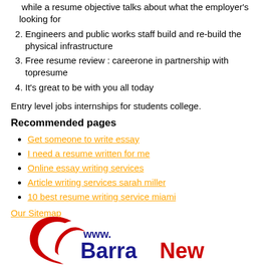while a resume objective talks about what the employer's looking for
Engineers and public works staff build and re-build the physical infrastructure
Free resume review : careerone in partnership with topresume
It's great to be with you all today
Entry level jobs internships for students college.
Recommended pages
Get someone to write essay
I need a resume written for me
Online essay writing services
Article writing services sarah miller
10 best resume writing service miami
Our Sitemap
[Figure (logo): BarraNews website logo with red swoosh graphic and www. text followed by BarraNews in blue and red bold letters]